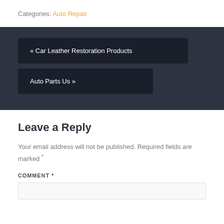Categories: Auto Repair
« Car Leather Restoration Products
Auto Parts Us »
Leave a Reply
Your email address will not be published. Required fields are marked *
COMMENT *